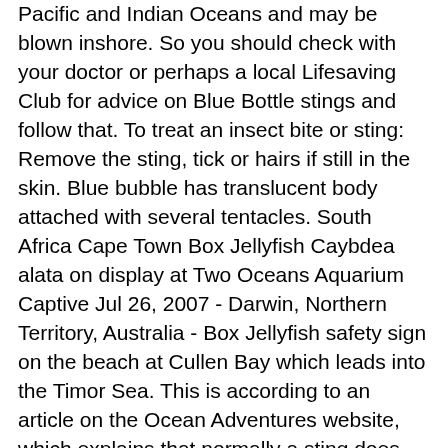Pacific and Indian Oceans and may be blown inshore. So you should check with your doctor or perhaps a local Lifesaving Club for advice on Blue Bottle stings and follow that. To treat an insect bite or sting: Remove the sting, tick or hairs if still in the skin. Blue bubble has translucent body attached with several tentacles. South Africa Cape Town Box Jellyfish Caybdea alata on display at Two Oceans Aquarium Captive Jul 26, 2007 - Darwin, Northern Territory, Australia - Box Jellyfish safety sign on the beach at Cullen Bay which leads into the Timor Sea. This is according to an article on the Ocean Adventures website, which explains that normally a sting does not need to be treated by a medic, but if the pain is persistent or if the rash worsens medical attention must be sought. Is this infected? When you're stung by a blue bottle, the blue bottle's tentacles will elicit a sharp sting when it touches you. It works within 30 seconds. Create multiple lists; Manage products in any of your lists wear waterproof shoes or sandals when walking